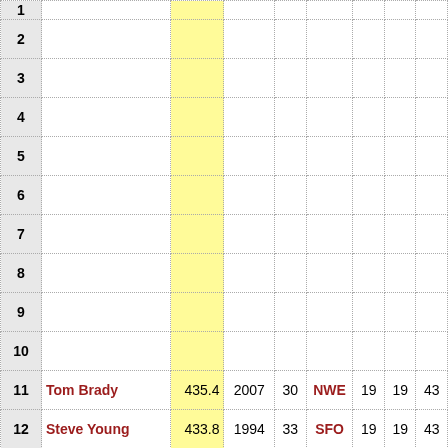| Rank | Name | Rating | Year | Age | Team | Col6 | Col7 | Col8 |
| --- | --- | --- | --- | --- | --- | --- | --- | --- |
| 1 |  |  |  |  |  |  |  |  |
| 2 |  |  |  |  |  |  |  |  |
| 3 |  |  |  |  |  |  |  |  |
| 4 |  |  |  |  |  |  |  |  |
| 5 |  |  |  |  |  |  |  |  |
| 6 |  |  |  |  |  |  |  |  |
| 7 |  |  |  |  |  |  |  |  |
| 8 |  |  |  |  |  |  |  |  |
| 9 |  |  |  |  |  |  |  |  |
| 10 |  |  |  |  |  |  |  |  |
| 11 | Tom Brady | 435.4 | 2007 | 30 | NWE | 19 | 19 | 43 |
| 12 | Steve Young | 433.8 | 1994 | 33 | SFO | 19 | 19 | 43 |
| 13 | Tom Brady | 432.4 | 2011 | 34 | NWE | 19 | 19 | 43 |
| 14 | Patrick Mahomes | 431.6 | 2020 | 25 | KAN | 18 | 18 | 43 |
| 15 | Aaron Rodgers | 431.6 | 2020 | 37 | GNB | 18 | 18 | 43 |
| 16 | Matt Ryan | 430.1 | 2016 | 31 | ATL | 19 | 19 | 43 |